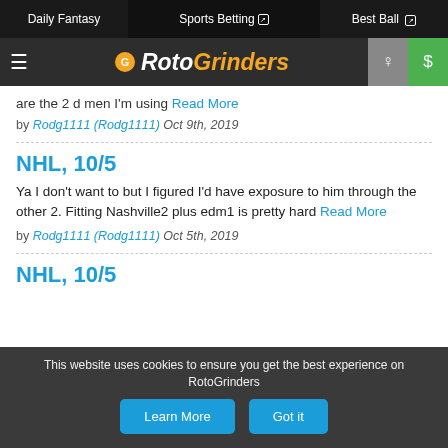Daily Fantasy | Sports Betting | Best Ball
RotoGrinders
are the 2 d men I'm using Read More
by Rodg1111 (Rodg1111) Oct 9th, 2019
NHL, 10/5
Ya I don't want to but I figured I'd have exposure to him through the other 2. Fitting Nashville2 plus edm1 is pretty hard Read More
by Rodg1111 (Rodg1111) Oct 5th, 2019
NHL, 10/5
This website uses cookies to ensure you get the best experience on RotoGrinders